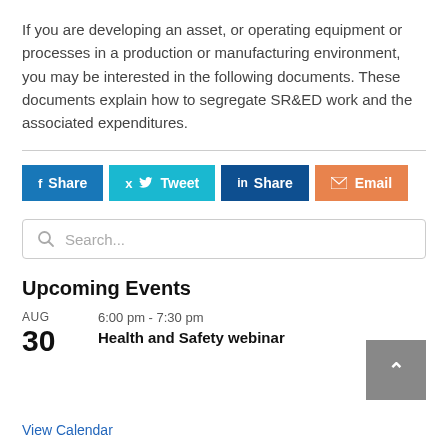If you are developing an asset, or operating equipment or processes in a production or manufacturing environment, you may be interested in the following documents. These documents explain how to segregate SR&ED work and the associated expenditures.
[Figure (other): Social sharing buttons: Facebook Share, Twitter Tweet, LinkedIn Share, Email]
[Figure (other): Search input field with placeholder text 'Search...']
Upcoming Events
AUG 30  6:00 pm - 7:30 pm  Health and Safety webinar
View Calendar